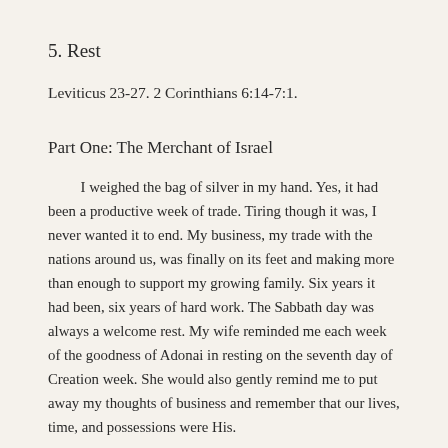5. Rest
Leviticus 23-27. 2 Corinthians 6:14-7:1.
Part One: The Merchant of Israel
I weighed the bag of silver in my hand. Yes, it had been a productive week of trade. Tiring though it was, I never wanted it to end. My business, my trade with the nations around us, was finally on its feet and making more than enough to support my growing family. Six years it had been, six years of hard work. The Sabbath day was always a welcome rest. My wife reminded me each week of the goodness of Adonai in resting on the seventh day of Creation week. She would also gently remind me to put away my thoughts of business and remember that our lives, time, and possessions were His.
But today I wanted to grumble about the Sabbath. The pagans still traded on the Sabbath. I continued on even as I would be glad if I...